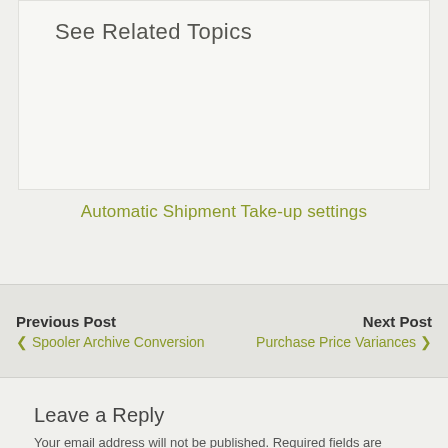See Related Topics
Automatic Shipment Take-up settings
Previous Post
‹ Spooler Archive Conversion
Next Post
Purchase Price Variances ›
Leave a Reply
Your email address will not be published. Required fields are marked *